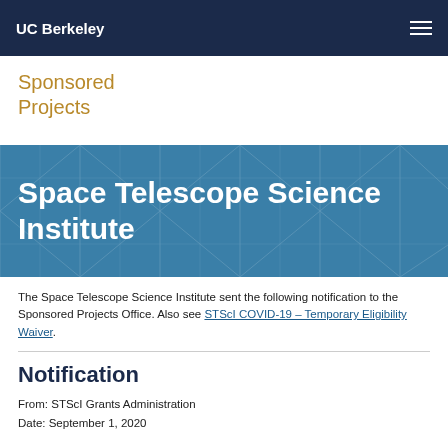UC Berkeley
Sponsored Projects
Space Telescope Science Institute
The Space Telescope Science Institute sent the following notification to the Sponsored Projects Office. Also see STScI COVID-19 – Temporary Eligibility Waiver.
Notification
From: STScI Grants Administration
Date: September 1, 2020